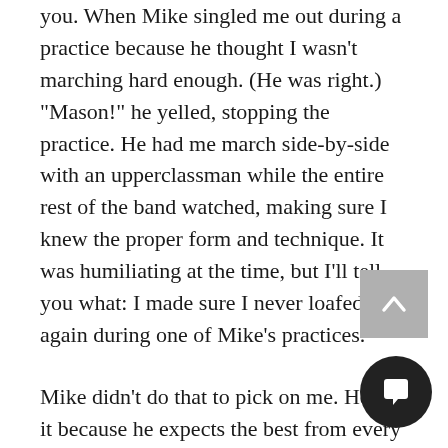you. When Mike singled me out during a practice because he thought I wasn't marching hard enough. (He was right.) "Mason!" he yelled, stopping the practice. He had me march side-by-side with an upperclassman while the entire rest of the band watched, making sure I knew the proper form and technique. It was humiliating at the time, but I'll tell you what: I made sure I never loafed again during one of Mike's practices.
Mike didn't do that to pick on me. He did it because he expects the best from every one of the 300-plus members in his band. I wasn't doing the best I could at that time, and he recognized it — and then ensured that best for the students. The thing...